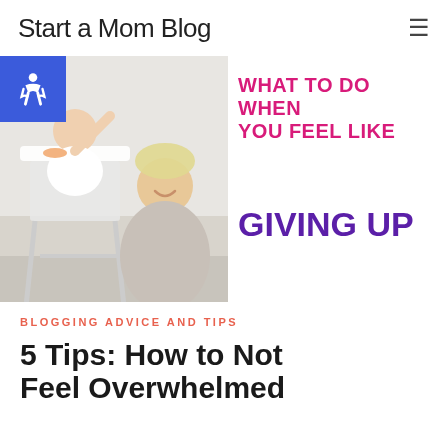Start a Mom Blog
[Figure (screenshot): Website screenshot of 'Start a Mom Blog' blog post page showing a mother with baby in a highchair and text overlay reading 'WHAT TO DO WHEN YOU FEEL LIKE GIVING UP ON YOUR']
BLOGGING ADVICE AND TIPS
5 Tips: How to Not Feel Overwhelmed